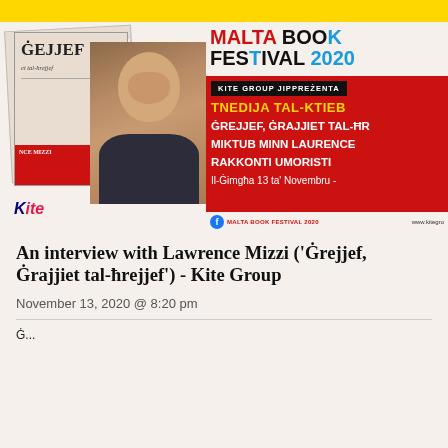[Figure (photo): Malta Book Festival 2020 promotional banner showing a man's photo, book cover collage for 'Ġrejjef, Ġrajjiet tal-ħrejjef' by Laurence Mizzi, red event information box with Kite Group branding and event details in Maltese.]
An interview with Lawrence Mizzi ('Ġrejjef, Ġrajjiet tal-ħrejjef') - Kite Group
November 13, 2020 @ 8:20 pm
Ġ...